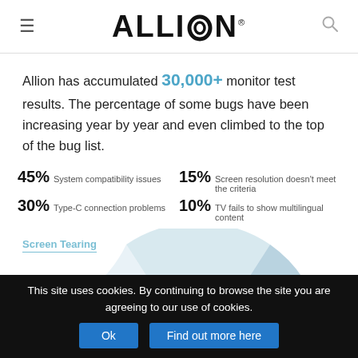ALLION®
Allion has accumulated 30,000+ monitor test results. The percentage of some bugs have been increasing year by year and even climbed to the top of the bug list.
45% System compatibility issues
15% Screen resolution doesn't meet the criteria
30% Type-C connection problems
10% TV fails to show multilingual content
[Figure (pie-chart): Partial pie chart visible with two labeled segments: 'Screen Tearing' and 'Monitor Freezes when']
This site uses cookies. By continuing to browse the site you are agreeing to our use of cookies.